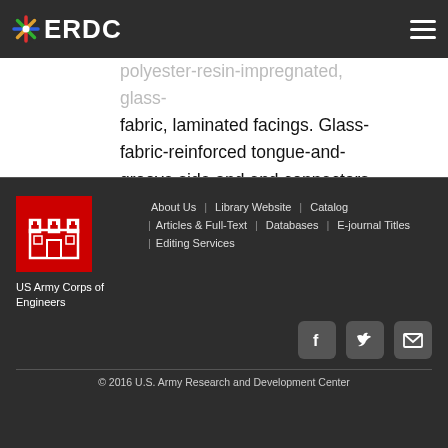ERDC — US Army Engineer Research and Development Center
polyester-resin-impregnated, glass-fabric, laminated facings. Glass-fabric-reinforced tongue-and-groove side and end connectors are fabricated as integral parts of the mat panels. Individual panels are secured in the field by use of metal drive rivets. Laboratory and engineering traffic tests were conducted to determine various properties of the mat in an overall evaluation for comparison with the
About Us | Library Website | Catalog | Articles & Full-Text | Databases | E-journal Titles | Editing Services — US Army Corps of Engineers — © 2016 U.S. Army Research and Development Center